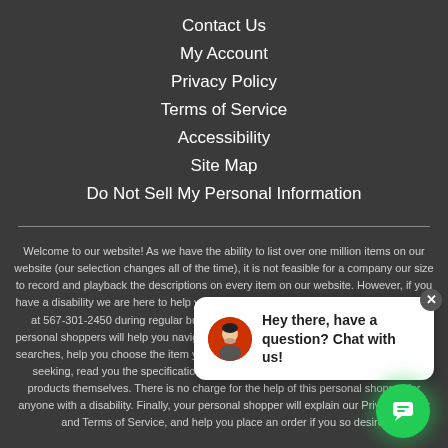Contact Us
My Account
Privacy Policy
Terms of Service
Accessibility
Site Map
Do Not Sell My Personal Information
Welcome to our website! As we have the ability to list over one million items on our website (our selection changes all of the time), it is not feasible for a company our size to record and playback the descriptions on every item on our website. However, if you have a disability we are here to help you. Please call our disability services phone line at 567-301-2450 during regular business hours and one of our kind and friendly personal shoppers will help you navigate through our website, help conduct advanced searches, help you choose the item you are looking for with the specifications you are seeking, read you the specifications of any item and consult with you about the products themselves. There is no charge for the help of this personal shopper for anyone with a disability. Finally, your personal shopper will explain our Privacy Policy and Terms of Service, and help you place an order if you so desire.
[Figure (screenshot): Chat widget popup with avatar and text 'Hey there, have a question? Chat with us!' and green chat FAB button]